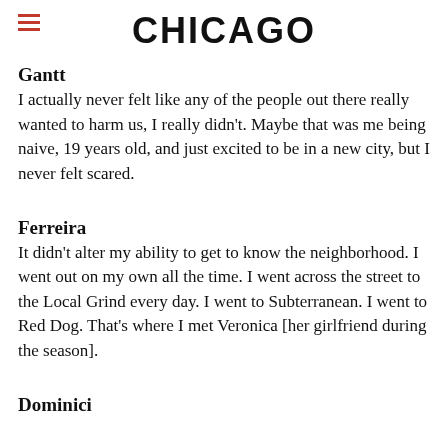CHICAGO
Gantt
I actually never felt like any of the people out there really wanted to harm us, I really didn't. Maybe that was me being naive, 19 years old, and just excited to be in a new city, but I never felt scared.
Ferreira
It didn't alter my ability to get to know the neighborhood. I went out on my own all the time. I went across the street to the Local Grind every day. I went to Subterranean. I went to Red Dog. That's where I met Veronica [her girlfriend during the season].
Dominici